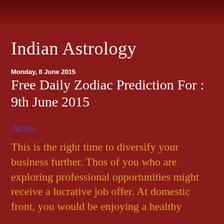Indian Astrology
Monday, 8 June 2015
Free Daily Zodiac Prediction For : 9th June 2015
Aries
This is the right time to diversify your business further. Thos of you who are exploring professional opportunities might receive a lucrative job offer. At domestic front, you would be enjoying a healthy